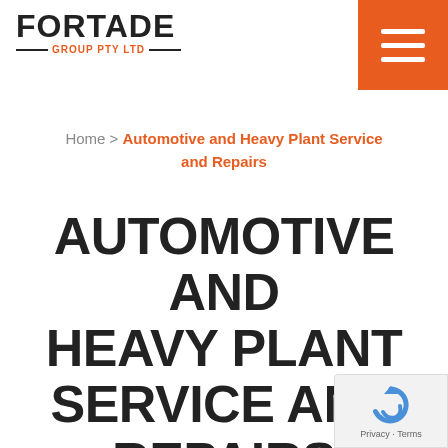[Figure (logo): Fortade Group Pty Ltd logo — black bold 'FORTADE' text with orange 'GROUP PTY LTD' subtitle between two horizontal lines]
[Figure (other): Orange hamburger menu button with three white horizontal lines, top-right corner]
Home > Automotive and Heavy Plant Service and Repairs
AUTOMOTIVE AND HEAVY PLANT SERVICE AND REPAIRS
[Figure (other): Google reCAPTCHA badge — circular arrow icon in blue, 'Privacy · Terms' text, bottom-right corner]